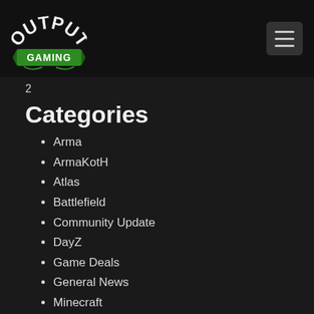[Figure (logo): Output Gaming logo — white bold 'OUTPUT' text arched, with green 'GAMING' banner below on dark background]
2
Categories
Arma
ArmaKotH
Atlas
Battlefield
Community Update
DayZ
Game Deals
General News
Minecraft
Product
Rust